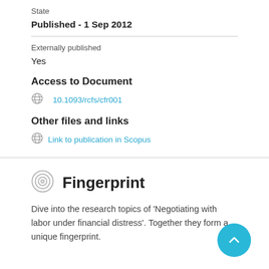State
Published - 1 Sep 2012
Externally published
Yes
Access to Document
10.1093/rcfs/cfr001
Other files and links
Link to publication in Scopus
Fingerprint
Dive into the research topics of 'Negotiating with labor under financial distress'. Together they form a unique fingerprint.